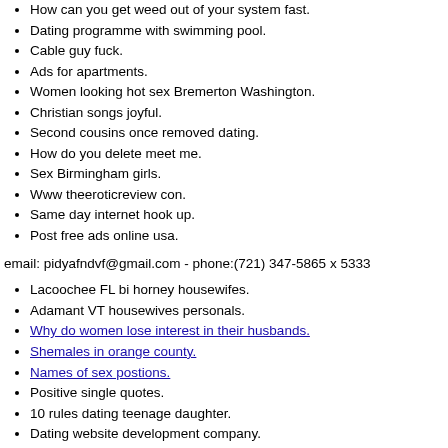How can you get weed out of your system fast.
Dating programme with swimming pool.
Cable guy fuck.
Ads for apartments.
Women looking hot sex Bremerton Washington.
Christian songs joyful.
Second cousins once removed dating.
How do you delete meet me.
Sex Birmingham girls.
Www theeroticreview con.
Same day internet hook up.
Post free ads online usa.
email: pidyafndvf@gmail.com - phone:(721) 347-5865 x 5333
Lacoochee FL bi horney housewifes.
Adamant VT housewives personals.
Why do women lose interest in their husbands.
Shemales in orange county.
Names of sex postions.
Positive single quotes.
10 rules dating teenage daughter.
Dating website development company.
Dirty chat no registration.
Club montreal sex.
Married ladies wants nsa East Ayrshire.